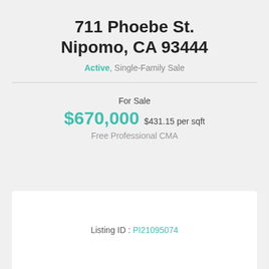711 Phoebe St. Nipomo, CA 93444
Active, Single-Family Sale
For Sale
$670,000 $431.15 per sqft
Free Professional CMA
Listing ID : PI21095074